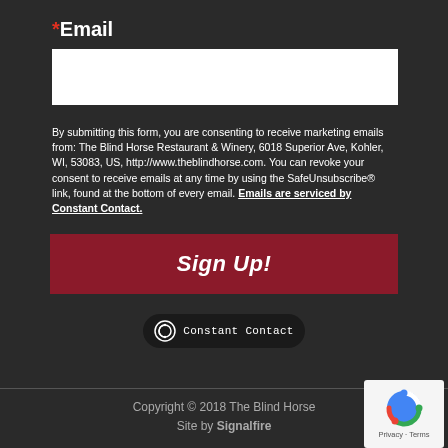*Email
By submitting this form, you are consenting to receive marketing emails from: The Blind Horse Restaurant & Winery, 6018 Superior Ave, Kohler, WI, 53083, US, http://www.theblindhorse.com. You can revoke your consent to receive emails at any time by using the SafeUnsubscribe® link, found at the bottom of every email. Emails are serviced by Constant Contact.
[Figure (other): Sign Up! button – dark red background with italic bold white text]
[Figure (logo): Constant Contact badge – dark pill-shaped badge with circular CC logo and text 'Constant Contact']
Copyright © 2018 The Blind Horse
Site by Signalfire
[Figure (other): reCAPTCHA badge – white box with reCAPTCHA logo and Privacy · Terms text]